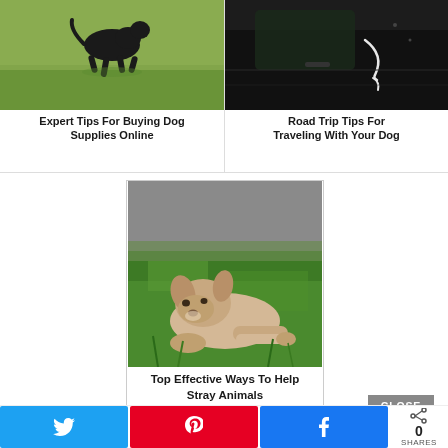[Figure (photo): Black dog running on green grass field]
Expert Tips For Buying Dog Supplies Online
[Figure (photo): Black car door with white marking/scratch]
Road Trip Tips For Traveling With Your Dog
[Figure (photo): White/beige puppy lying on green grass looking sad]
Top Effective Ways To Help Stray Animals
CLOSE
0
SHARES